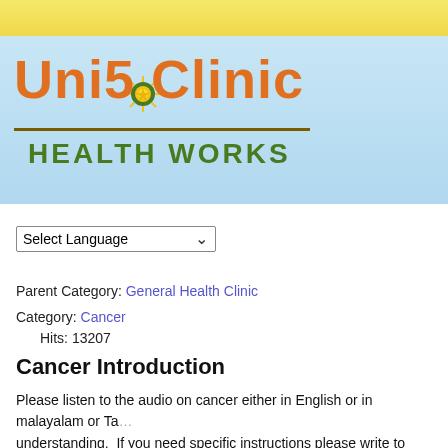[Figure (logo): Uni5 Clinic Health Works logo with orange bold text, sun icon, green underline text on light blue background with yellow bar at top]
Select Language
Parent Category: General Health Clinic
Category: Cancer
    Hits: 13207
Cancer Introduction
Please listen to the audio on cancer either in English or in malayalam or Ta... understanding.  If you need specific instructions please write to clinic att uni...
More than the trauma the patient undergoes after knowing about cancer, been helping cancer patients for more than 25 years. In our experience w...